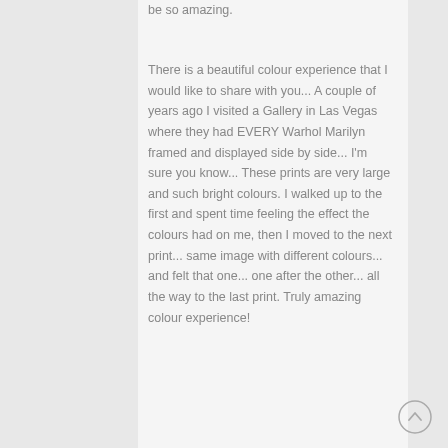be so amazing.
There is a beautiful colour experience that I would like to share with you... A couple of years ago I visited a Gallery in Las Vegas where they had EVERY Warhol Marilyn framed and displayed side by side... I'm sure you know... These prints are very large and such bright colours. I walked up to the first and spent time feeling the effect the colours had on me, then I moved to the next print... same image with different colours... and felt that one... one after the other... all the way to the last print. Truly amazing colour experience!